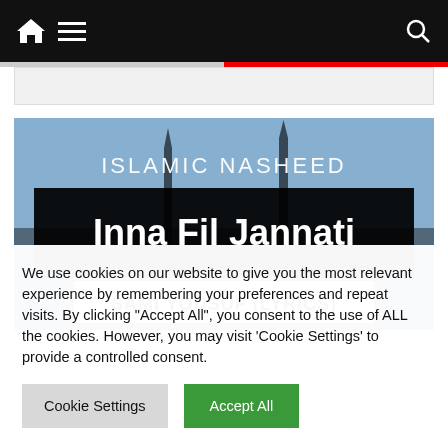Navigation bar with home icon, menu icon, and search icon
[Figure (screenshot): Thumbnail image for Islamic Nasheed video: 'Inna Fil Jannati' by Sami Yousuf (Lyrics). Shows mosque silhouette against sky background with white text on black banner.]
We use cookies on our website to give you the most relevant experience by remembering your preferences and repeat visits. By clicking "Accept All", you consent to the use of ALL the cookies. However, you may visit 'Cookie Settings' to provide a controlled consent.
Cookie Settings | Accept All